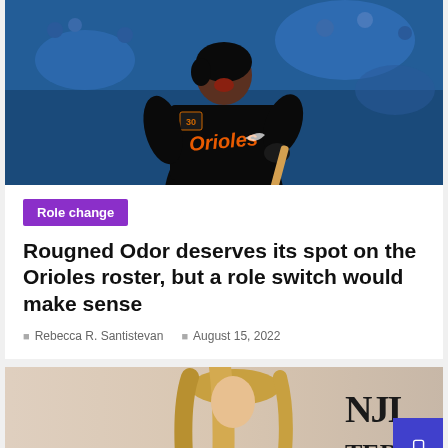[Figure (photo): Baltimore Orioles player in black uniform celebrating after a hit, mouth open, bat in hand, stadium crowd in blue background]
Role change
Rougned Odor deserves its spot on the Orioles roster, but a role switch would make sense
Rebecca R. Santistevan   August 15, 2022
[Figure (photo): New York Times branded image featuring a blonde woman, with NJI TER partial text visible on right side and a purple button]